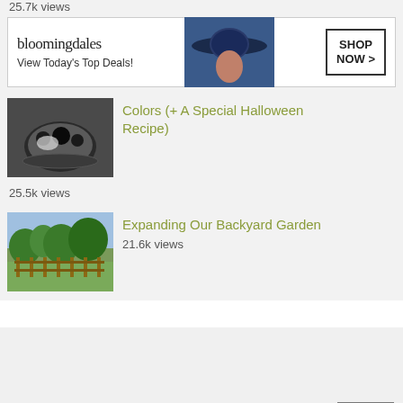25.7k views
[Figure (other): Bloomingdales advertisement banner: logo, 'View Today's Top Deals!', woman wearing wide-brim hat, SHOP NOW button]
[Figure (photo): Food photo thumbnail showing dark ingredients in bowl]
Colors (+ A Special Halloween Recipe)
25.5k views
[Figure (photo): Backyard garden photo thumbnail showing trees and outdoor area]
Expanding Our Backyard Garden
21.6k views
[Figure (other): Victoria's Secret advertisement: model, VS logo, SHOP THE COLLECTION text, SHOP NOW button, CLOSE button]
CLOSE